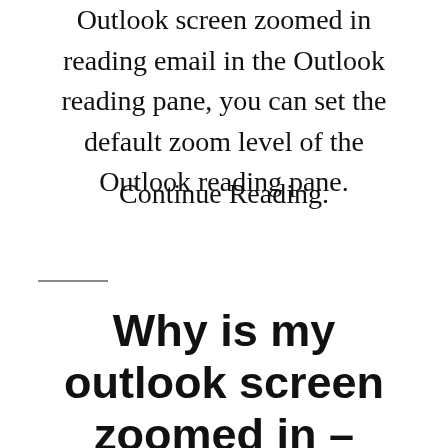Outlook screen zoomed in reading email in the Outlook reading pane, you can set the default zoom level of the Outlook reading pane.
Continue Reading.
Why is my outlook screen zoomed in –